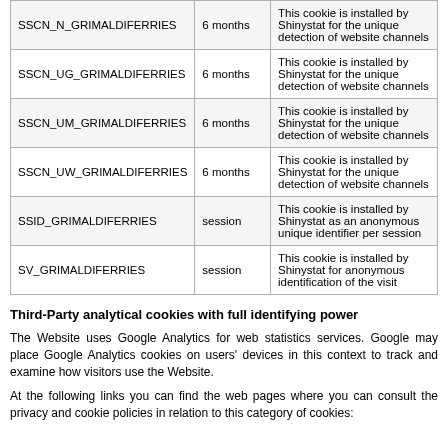| Cookie Name | Duration | Description |
| --- | --- | --- |
| SSCN_N_GRIMALDIFERRIES | 6 months | This cookie is installed by Shinystat for the unique detection of website channels |
| SSCN_UG_GRIMALDIFERRIES | 6 months | This cookie is installed by Shinystat for the unique detection of website channels |
| SSCN_UM_GRIMALDIFERRIES | 6 months | This cookie is installed by Shinystat for the unique detection of website channels |
| SSCN_UW_GRIMALDIFERRIES | 6 months | This cookie is installed by Shinystat for the unique detection of website channels |
| SSID_GRIMALDIFERRIES | session | This cookie is installed by Shinystat as an anonymous unique identifier per session |
| SV_GRIMALDIFERRIES | session | This cookie is installed by Shinystat for anonymous identification of the visit |
Third-Party analytical cookies with full identifying power
The Website uses Google Analytics for web statistics services. Google may place Google Analytics cookies on users' devices in this context to track and examine how visitors use the Website.
At the following links you can find the web pages where you can consult the privacy and cookie policies in relation to this category of cookies: